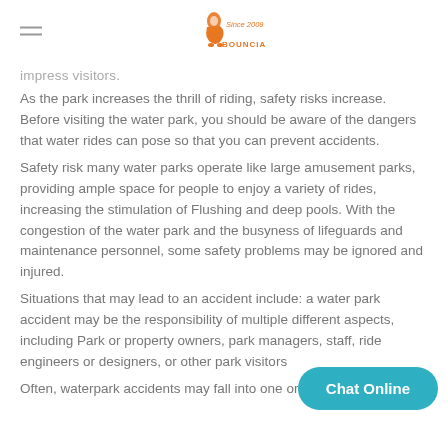Bouncia — Since 2009
impress visitors.
As the park increases the thrill of riding, safety risks increase. Before visiting the water park, you should be aware of the dangers that water rides can pose so that you can prevent accidents.
Safety risk many water parks operate like large amusement parks, providing ample space for people to enjoy a variety of rides, increasing the stimulation of Flushing and deep pools. With the congestion of the water park and the busyness of lifeguards and maintenance personnel, some safety problems may be ignored and injured.
Situations that may lead to an accident include: a water park accident may be the responsibility of multiple different aspects, including Park or property owners, park managers, staff, ride engineers or designers, or other park visitors
Often, waterpark accidents may fall into one or more of the